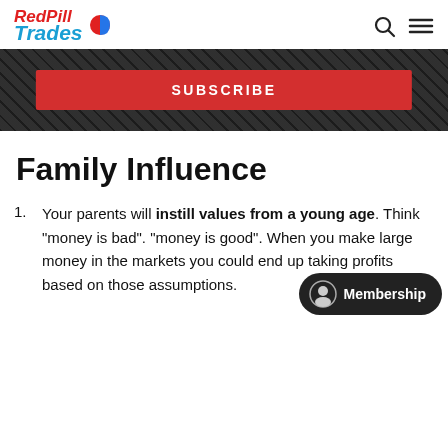RedPill Trades
[Figure (screenshot): Dark background banner with a red SUBSCRIBE button]
Family Influence
Your parents will instill values from a young age. Think "money is bad". "money is good". When you make large money in the markets you could end up taking profits based on those assumptions.
[Figure (other): Membership badge overlay with user icon and 'Membership' text]